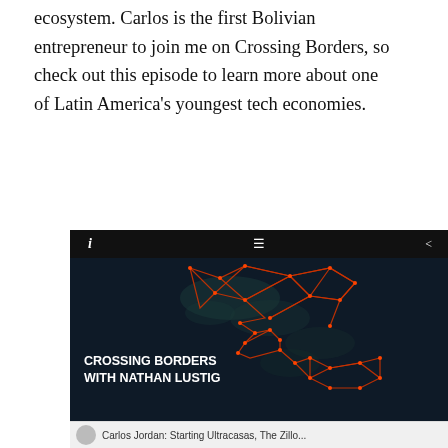ecosystem. Carlos is the first Bolivian entrepreneur to join me on Crossing Borders, so check out this episode to learn more about one of Latin America's youngest tech economies.
[Figure (screenshot): A podcast player embed showing 'Crossing Borders with Nathan Lustig'. Dark navy background with a geometric red-orange network map overlay of the Americas (North, Central, and South America). Top bar with info (i), list, and share icons. White bold text at bottom left reads 'CROSSING BORDERS WITH NATHAN LUSTIG'.]
Carlos Jordan: Starting Ultracasas, The Zillo...